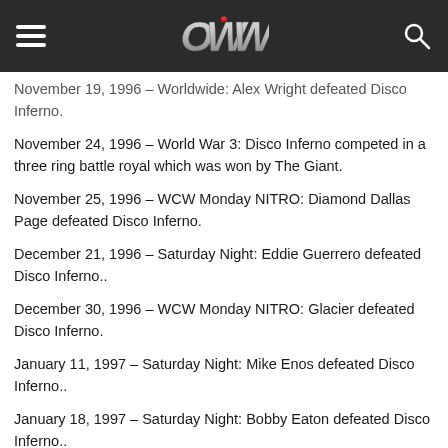OWW (Online World of Wrestling) website header with hamburger menu, OWW logo, and search icon
November 19, 1996 – Worldwide: Alex Wright defeated Disco Inferno.
November 24, 1996 – World War 3: Disco Inferno competed in a three ring battle royal which was won by The Giant.
November 25, 1996 – WCW Monday NITRO: Diamond Dallas Page defeated Disco Inferno.
December 21, 1996 – Saturday Night: Eddie Guerrero defeated Disco Inferno..
December 30, 1996 – WCW Monday NITRO: Glacier defeated Disco Inferno.
January 11, 1997 – Saturday Night: Mike Enos defeated Disco Inferno..
January 18, 1997 – Saturday Night: Bobby Eaton defeated Disco Inferno..